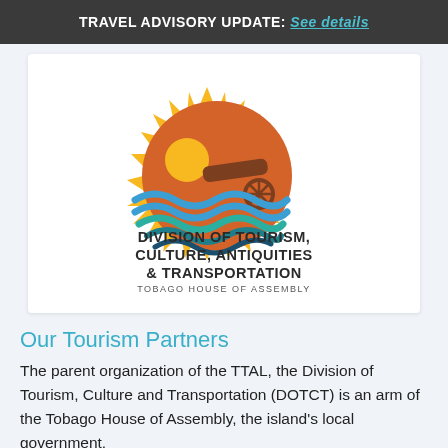TRAVEL ADVISORY UPDATE: See details
[Figure (logo): Division of Tourism, Culture, Antiquities & Transportation – Tobago House of Assembly logo. Shows a sun with spiky rays in yellow/orange, an orange circle with a brown cannon, and blue/teal/dark wave stripes at bottom. Text below reads: DIVISION OF TOURISM, CULTURE, ANTIQUITIES & TRANSPORTATION / TOBAGO HOUSE OF ASSEMBLY]
Our Tourism Partners
The parent organization of the TTAL, the Division of Tourism, Culture and Transportation (DOTCT) is an arm of the Tobago House of Assembly, the island's local government.